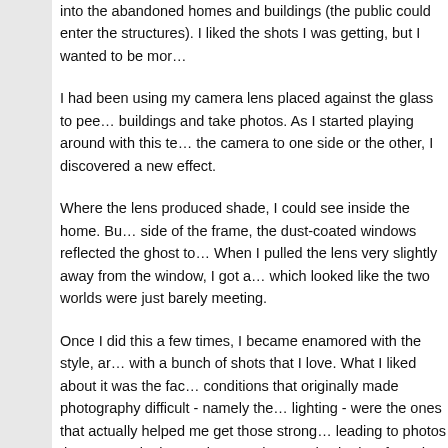into the abandoned homes and buildings (the public could enter the structures). I liked the shots I was getting, but I wanted to be more...
I had been using my camera lens placed against the glass to peek into buildings and take photos. As I started playing around with this technique, tilting the camera to one side or the other, I discovered a new effect.
Where the lens produced shade, I could see inside the home. But on the other side of the frame, the dust-coated windows reflected the ghost town outside. When I pulled the lens very slightly away from the window, I got a blend of both, which looked like the two worlds were just barely meeting.
Once I did this a few times, I became enamored with the style, and came away with a bunch of shots that I love. What I liked about it was the fact that the conditions that originally made photography difficult - namely the harsh outdoor lighting - were the ones that actually helped me get those strong reflections, leading to photos that were quite interesting. In other words, the bad conditions forced me to shoot more creatively.
When I show these photos to others, several comment on the editing of the two subjects. I have to correct them: "Actually... this isn't a composite image sewn together in Photoshop; this is one image." The only editing I did was with coloring and tone.